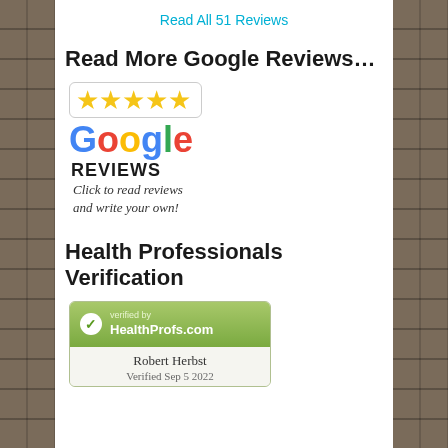Read All 51 Reviews
Read More Google Reviews…
[Figure (logo): Google Reviews badge with 5 gold stars in a speech bubble above Google logo in multi-color letters, REVIEWS label, and italic text 'Click to read reviews and write your own!']
Health Professionals Verification
[Figure (logo): HealthProfs.com verified badge with green checkmark, showing 'verified by HealthProfs.com', name Robert Herbst, Verified Sep 5 2022]